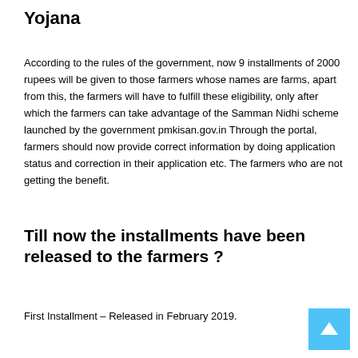Yojana
According to the rules of the government, now 9 installments of 2000 rupees will be given to those farmers whose names are farms, apart from this, the farmers will have to fulfill these eligibility, only after which the farmers can take advantage of the Samman Nidhi scheme launched by the government pmkisan.gov.in Through the portal, farmers should now provide correct information by doing application status and correction in their application etc. The farmers who are not getting the benefit.
Till now the installments have been released to the farmers ?
First Installment – Released in February 2019.